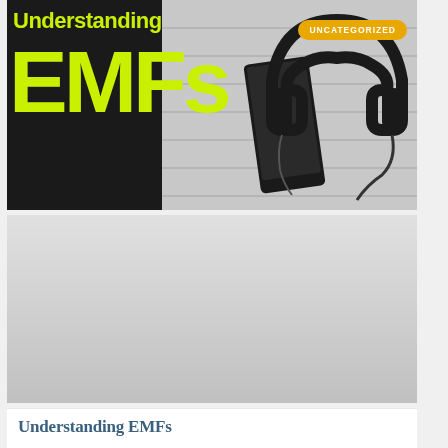[Figure (photo): Banner image with dark background on the left showing bold lime-green text 'Understanding EMFs' and a black-and-white photo on the right showing a smartphone, headphones, and cables on a wooden surface. An orange 'UNCATEGORIZED' badge appears in the top right corner.]
[Figure (photo): Gray gradient rectangular area below the banner, appearing to be a placeholder or advertisement space.]
Understanding EMFs